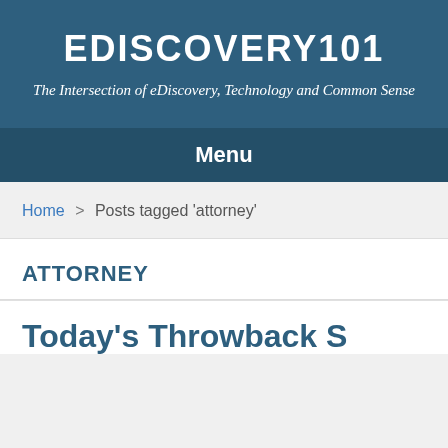EDISCOVERY101
The Intersection of eDiscovery, Technology and Common Sense
Menu
Home > Posts tagged 'attorney'
ATTORNEY
Today's Throwback S